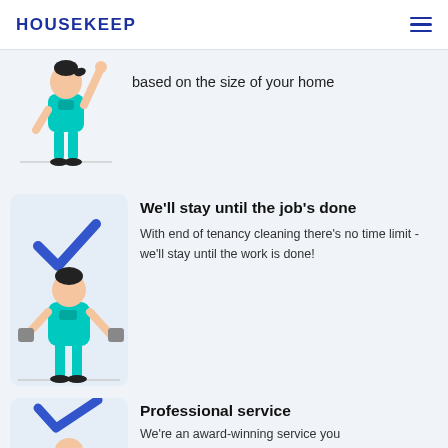HOUSEKEEP
[Figure (illustration): Illustration of a cleaner figure in teal uniform reaching upward, partially visible at top of page]
based on the size of your home
[Figure (illustration): Light blue card with a blue checkmark icon at top and a teal-uniformed cleaner illustration below]
We'll stay until the job's done
With end of tenancy cleaning there's no time limit - we'll stay until the work is done!
[Figure (illustration): Light blue card with a blue checkmark icon at top and partial cleaner illustration at bottom]
Professional service
We're an award-winning service you